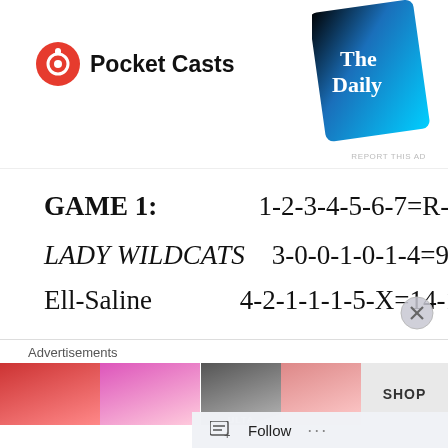[Figure (screenshot): Pocket Casts logo and 'The Daily' podcast card advertisement banner]
GAME 1:   1-2-3-4-5-6-7=R-H-E
LADY WILDCATS   3-0-0-1-0-1-4=9-8-8
Ell-Saline   4-2-1-1-1-5-X=14-14-2
LADY WILDCATS PITCHING (IP-P-H-R-ER-SO-BB): Emily Durst 6.0-129-14-14-5-5-5.
LADY WILDCATS HITTING (AB-R-H-RBI-
[Figure (screenshot): Advertisements strip with partial images and SHOP label at bottom of page]
Advertisements   Follow ...